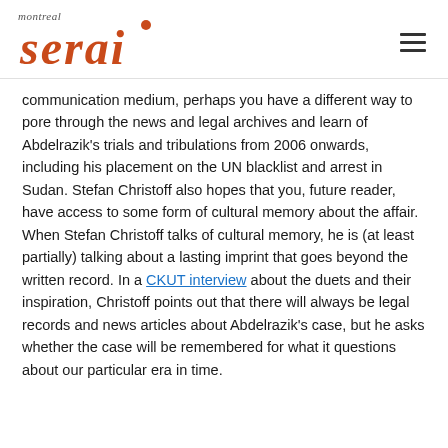montreal serai
communication medium, perhaps you have a different way to pore through the news and legal archives and learn of Abdelrazik's trials and tribulations from 2006 onwards, including his placement on the UN blacklist and arrest in Sudan. Stefan Christoff also hopes that you, future reader, have access to some form of cultural memory about the affair. When Stefan Christoff talks of cultural memory, he is (at least partially) talking about a lasting imprint that goes beyond the written record. In a CKUT interview about the duets and their inspiration, Christoff points out that there will always be legal records and news articles about Abdelrazik's case, but he asks whether the case will be remembered for what it questions about our particular era in time.